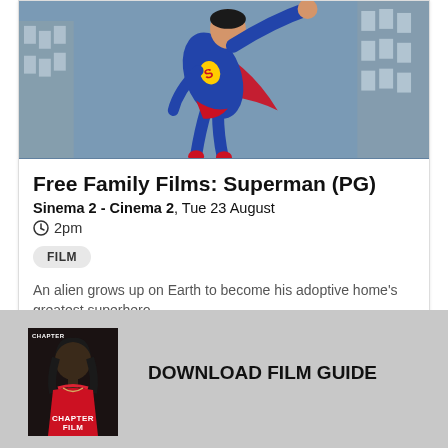[Figure (photo): Superman flying with fist outstretched, wearing blue suit and red cape, against a city background]
Free Family Films: Superman (PG)
Sinema 2 - Cinema 2, Tue 23 August
2pm
FILM
An alien grows up on Earth to become his adoptive home's greatest superhero
MORE  BOOK
[Figure (photo): Chapter Film Guide cover showing a woman in a red outfit, with text CHAPTER FILM at the bottom]
DOWNLOAD FILM GUIDE